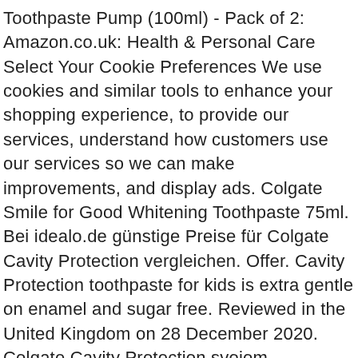Toothpaste Pump (100ml) - Pack of 2: Amazon.co.uk: Health & Personal Care Select Your Cookie Preferences We use cookies and similar tools to enhance your shopping experience, to provide our services, understand how customers use our services so we can make improvements, and display ads. Colgate Smile for Good Whitening Toothpaste 75ml. Bei idealo.de günstige Preise für Colgate Cavity Protection vergleichen. Offer. Cavity Protection toothpaste for kids is extra gentle on enamel and sugar free. Reviewed in the United Kingdom on 28 December 2020. Colgate Cavity Protection svojom kalcijevom formulom ulazi između i oko zuba, za zaštitu od karijesa. 13 (£11.30/l) £1.50 £1.50 "colgate max fresh" Colgate Max Fresh with Cooling Crystals Toothpaste Pump 6 x 100ml Multipack. Write a review Rest of Whitening Toothpaste shelf £ 3.50 £ 3.50 /100ml. Description Keep your winning smile by protecting your